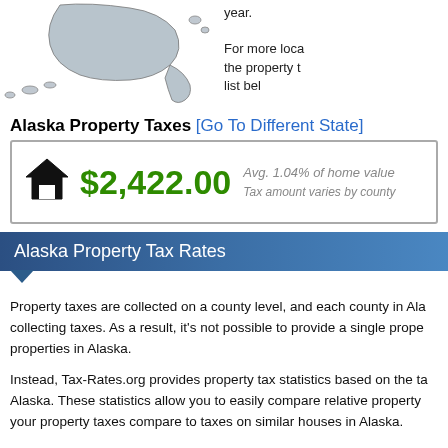[Figure (map): Partial map of Alaska showing geographic outline]
For more localized statistics, the property tax map or county list below.
Alaska Property Taxes [Go To Different State]
| $2,422.00 | Avg. 1.04% of home value | Tax amount varies by county |
Alaska Property Tax Rates
Property taxes are collected on a county level, and each county in Alaska has a different system for collecting taxes. As a result, it's not possible to provide a single property tax rate that applies uniformly to all properties in Alaska.
Instead, Tax-Rates.org provides property tax statistics based on the taxes owed on typical properties in Alaska. These statistics allow you to easily compare relative property taxes across different areas, and see how your property taxes compare to taxes on similar houses in Alaska.
The statistics provided here are state-wide. For more localized statistics, you can find your county in the property tax map or county list found on this page.